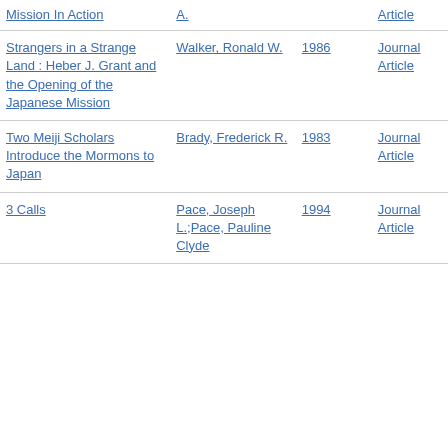| Title | Author | Year | Type |
| --- | --- | --- | --- |
| Mission In Action | A. |  | Article |
| Strangers in a Strange Land : Heber J. Grant and the Opening of the Japanese Mission | Walker, Ronald W. | 1986 | Journal Article |
| Two Meiji Scholars Introduce the Mormons to Japan | Brady, Frederick R. | 1983 | Journal Article |
| 3 Calls | Pace, Joseph L.;Pace, Pauline Clyde | 1994 | Journal Article |